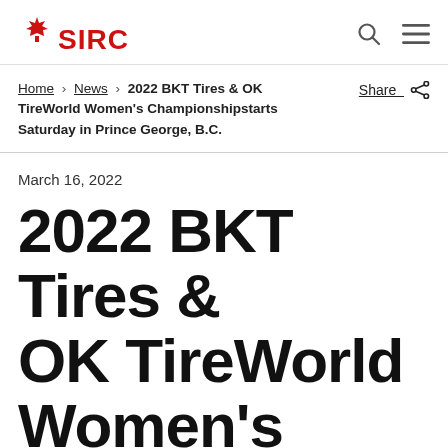SIRC
Home > News > 2022 BKT Tires & OK TireWorld Women's Championshipstarts Saturday in Prince George, B.C.  Share
March 16, 2022
2022 BKT Tires & OK TireWorld Women's